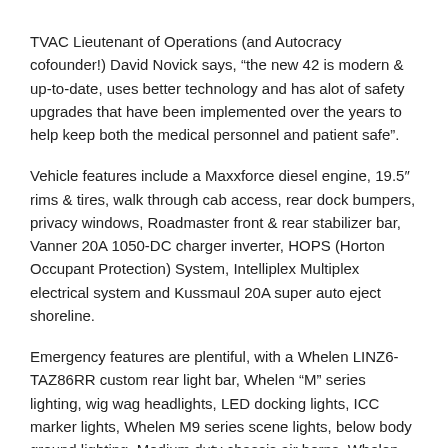TVAC Lieutenant of Operations (and Autocracy cofounder!) David Novick says, “the new 42 is modern & up-to-date, uses better technology and has alot of safety upgrades that have been implemented over the years to help keep both the medical personnel and patient safe”.
Vehicle features include a Maxxforce diesel engine, 19.5″ rims & tires, walk through cab access, rear dock bumpers, privacy windows, Roadmaster front & rear stabilizer bar, Vanner 20A 1050-DC charger inverter, HOPS (Horton Occupant Protection) System, Intelliplex Multiplex electrical system and Kussmaul 20A super auto eject shoreline.
Emergency features are plentiful, with a Whelen LINZ6-TAZ86RR custom rear light bar, Whelen “M” series lighting, wig wag headlights, LED docking lights, ICC marker lights, Whelen M9 series scene lights, below body ground lighting, Medium duty chassis air horns, Whelen 295SLSA1 siren and Sho-Me/Able 2 30.222 undercover siren.